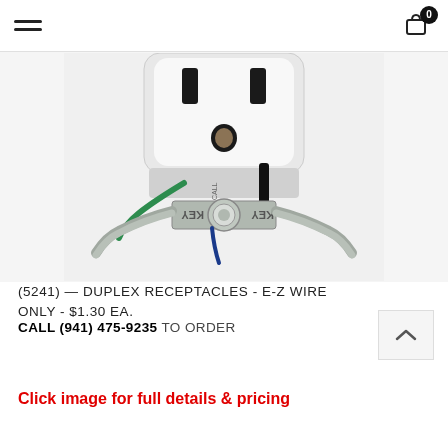Menu | Cart (0)
[Figure (photo): Close-up photo of a white duplex electrical receptacle with E-Z wire mounting bracket labeled KEY, with green wire and metallic hardware visible.]
(5241) — DUPLEX RECEPTACLES - E-Z WIRE ONLY - $1.30 EA.
CALL (941) 475-9235 TO ORDER
Click image for full details & pricing